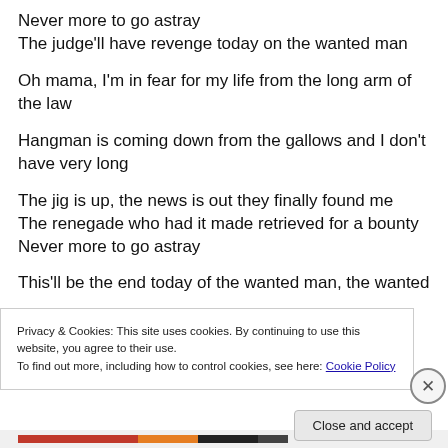Never more to go astray
The judge’ll have revenge today on the wanted man
Oh mama, I’m in fear for my life from the long arm of the law
Hangman is coming down from the gallows and I don’t have very long
The jig is up, the news is out they finally found me
The renegade who had it made retrieved for a bounty
Never more to go astray
This’ll be the end today of the wanted man, the wanted
Privacy & Cookies: This site uses cookies. By continuing to use this website, you agree to their use.
To find out more, including how to control cookies, see here: Cookie Policy
Close and accept